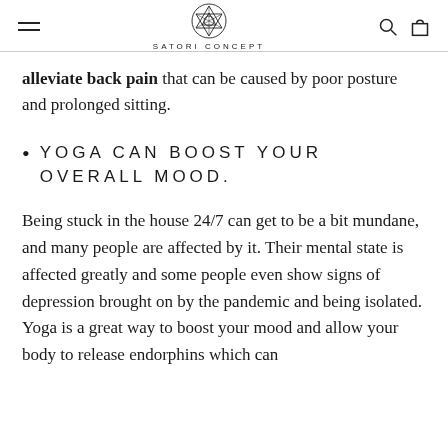SATORI CONCEPT
alleviate back pain that can be caused by poor posture and prolonged sitting.
YOGA CAN BOOST YOUR OVERALL MOOD.
Being stuck in the house 24/7 can get to be a bit mundane, and many people are affected by it. Their mental state is affected greatly and some people even show signs of depression brought on by the pandemic and being isolated. Yoga is a great way to boost your mood and allow your body to release endorphins which can alleviate anxiety and boost heart health.